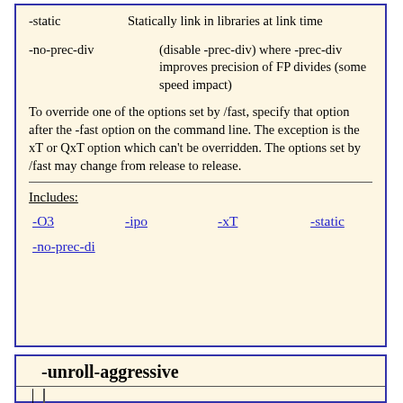-static   Statically link in libraries at link time
-no-prec-div (disable -prec-div) where -prec-div improves precision of FP divides (some speed impact)
To override one of the options set by /fast, specify that option after the -fast option on the command line. The exception is the xT or QxT option which can't be overridden. The options set by /fast may change from release to release.
Includes: -O3  -ipo  -xT  -static  -no-prec-di
-unroll-aggressive